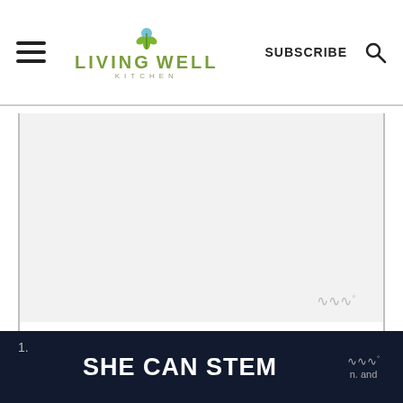LIVING WELL KITCHEN — SUBSCRIBE
[Figure (screenshot): White image placeholder area with a small wireframe logo icon (III°) in the bottom right corner]
Instructions
[Figure (screenshot): Dark navy bottom banner with text SHE CAN STEM in large white bold letters, and a small III° logo on the right side with the word 'and']